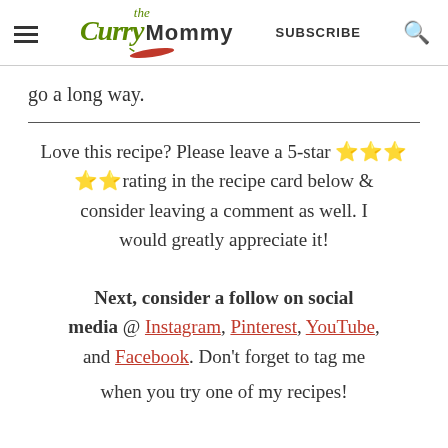the Curry Mommy | SUBSCRIBE
go a long way.
Love this recipe? Please leave a 5-star ⭐⭐⭐⭐⭐rating in the recipe card below & consider leaving a comment as well. I would greatly appreciate it!
Next, consider a follow on social media @ Instagram, Pinterest, YouTube, and Facebook. Don't forget to tag me when you try one of my recipes!